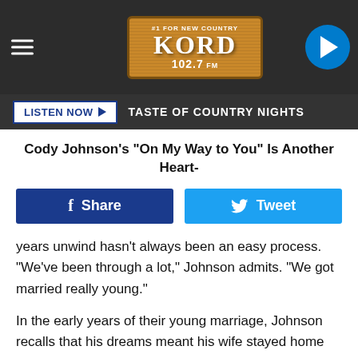[Figure (logo): KORD 102.7 FM radio station logo header with hamburger menu and play button]
LISTEN NOW ▶  TASTE OF COUNTRY NIGHTS
Cody Johnson's "On My Way to You" Is Another Heart-
[Figure (other): Facebook Share and Twitter Tweet social sharing buttons]
years unwind hasn't always been an easy process. "We've been through a lot," Johnson admits. "We got married really young."
In the early years of their young marriage, Johnson recalls that his dreams meant his wife stayed home taking odd jobs to pay the bills while he chased a music career.
"I don't care who you are, if you are married, you've been through something," he insists. "You've had those rough